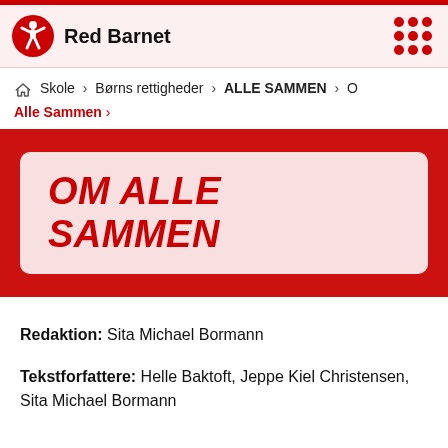Red Barnet
Skole > Børns rettigheder > ALLE SAMMEN > O
Alle Sammen >
OM ALLE SAMMEN
Redaktion: Sita Michael Bormann
Tekstforfattere: Helle Baktoft, Jeppe Kiel Christensen, Sita Michael Bormann